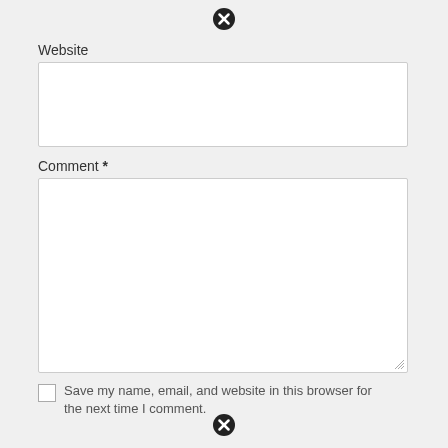[Figure (other): Close/error icon (black circle with X) at top center]
Website
[Figure (other): Empty website input text field]
Comment *
[Figure (other): Large empty comment textarea with resize handle]
[Figure (other): Unchecked checkbox]
Save my name, email, and website in this browser for the next time I comment.
[Figure (other): Close/error icon (black circle with X) at bottom center]